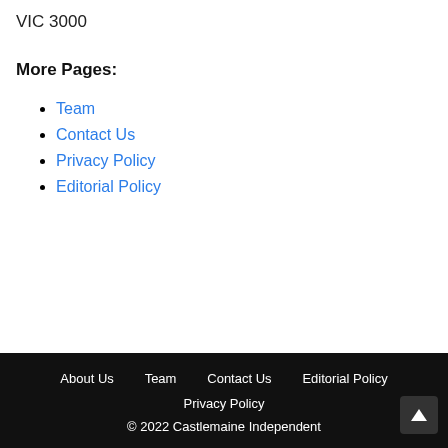VIC 3000
More Pages:
Team
Contact Us
Privacy Policy
Editorial Policy
About Us   Team   Contact Us   Editorial Policy   Privacy Policy   © 2022 Castlemaine Independent